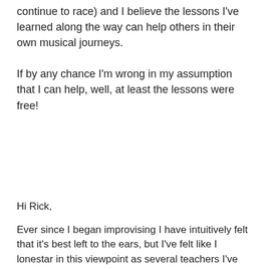continue to race) and I believe the lessons I've learned along the way can help others in their own musical journeys.

If by any chance I'm wrong in my assumption that I can help, well, at least the lessons were free!
Comment by Aaron    July 16, 2006
Hi Rick,

Ever since I began improvising I have intuitively felt that it's best left to the ears, but I've felt like I lonestar in this viewpoint as several teachers I've been to and friends of mine are also trying to play jazz seem to think that the best approach is to play scales and arpeggios ad